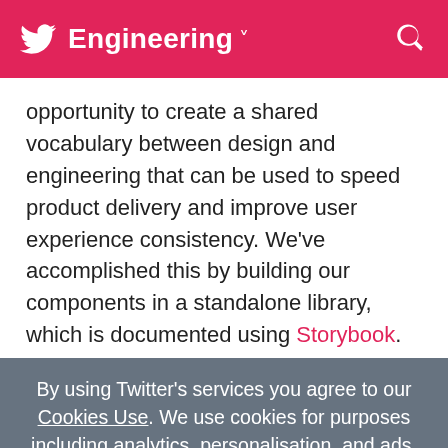Engineering
opportunity to create a shared vocabulary between design and engineering that can be used to speed product delivery and improve user experience consistency. We've accomplished this by building our components in a standalone library, which is documented using Storybook. The docs can be accessed internally by designers and developers to see which components are available for use, what they are called, what they can do, and how they behave. This means that when a designer is
By using Twitter's services you agree to our Cookies Use. We use cookies for purposes including analytics, personalisation, and ads.
OK